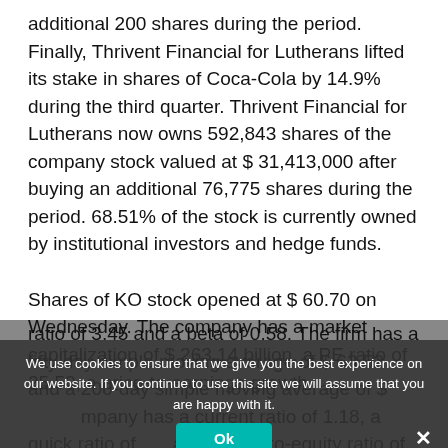additional 200 shares during the period. Finally, Thrivent Financial for Lutherans lifted its stake in shares of Coca-Cola by 14.9% during the third quarter. Thrivent Financial for Lutherans now owns 592,843 shares of the company stock valued at $ 31,413,000 after buying an additional 76,775 shares during the period. 68.51% of the stock is currently owned by institutional investors and hedge funds.
Shares of KO stock opened at $ 60.70 on Wednesday. The company has a market capitalization of $ 263.14 billion, a PE ratio of 25.50, a price-to-earnings-growth ratio of 3.45 and a beta of 0.58. The firm has a fifty day simple moving average of $ 63.52 and a 200-day simple moving average of $ [obscured]. The company has a current ratio of 1.18, a quick ratio of 0.98 and a debt-to-equity ratio of 1.38. The Coca-Cola Company has a twelve